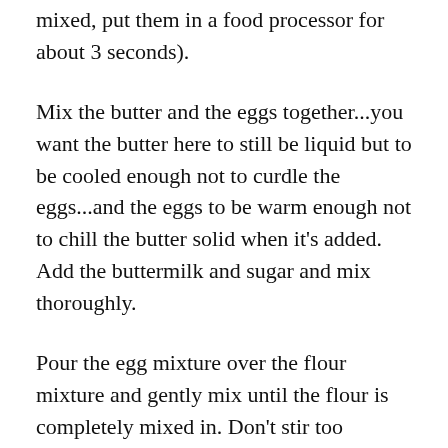mixed, put them in a food processor for about 3 seconds).
Mix the butter and the eggs together...you want the butter here to still be liquid but to be cooled enough not to curdle the eggs...and the eggs to be warm enough not to chill the butter solid when it's added. Add the buttermilk and sugar and mix thoroughly.
Pour the egg mixture over the flour mixture and gently mix until the flour is completely mixed in. Don't stir too vigorously, or you will get tough waffles. Once mixed, set the batter aside to rest for about 5 minutes.
Plug in your waffle iron (yes, you really do need one for this). Once it's hot, either spray with non-stick spray or brush lightly with butter. ladle 5-6 ounces of batter into the center of your waffle maker and close. If you like really crisp waffles, cook them for 1-2 minutes after the